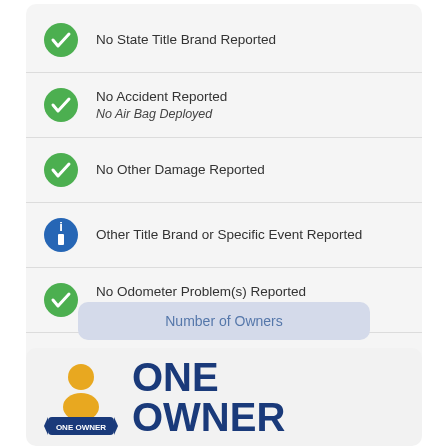No State Title Brand Reported
No Accident Reported
No Air Bag Deployed
No Other Damage Reported
Other Title Brand or Specific Event Reported
No Odometer Problem(s) Reported
Last Odometer Reading:12,884
No Open Recall(s) Reported
Number of Owners
[Figure (infographic): One Owner badge with golden person icon and blue ribbon reading ONE OWNER, alongside bold blue text ONE OWNER]